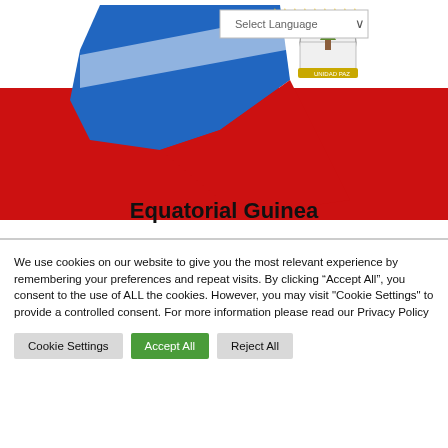[Figure (map): Map of Equatorial Guinea overlaid on the national flag colors (white, blue triangle on left, red stripe). A government coat of arms emblem is visible at the top center. A 'Select Language' dropdown UI element appears in the top right corner.]
Equatorial Guinea
We use cookies on our website to give you the most relevant experience by remembering your preferences and repeat visits. By clicking “Accept All”, you consent to the use of ALL the cookies. However, you may visit "Cookie Settings" to provide a controlled consent. For more information please read our Privacy Policy
Cookie Settings | Accept All | Reject All